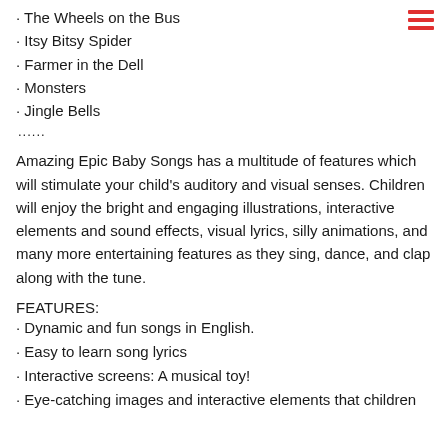· The Wheels on the Bus
· Itsy Bitsy Spider
· Farmer in the Dell
· Monsters
· Jingle Bells
......
Amazing Epic Baby Songs has a multitude of features which will stimulate your child's auditory and visual senses. Children will enjoy the bright and engaging illustrations, interactive elements and sound effects, visual lyrics, silly animations, and many more entertaining features as they sing, dance, and clap along with the tune.
FEATURES:
· Dynamic and fun songs in English.
· Easy to learn song lyrics
· Interactive screens: A musical toy!
· Eye-catching images and interactive elements that children